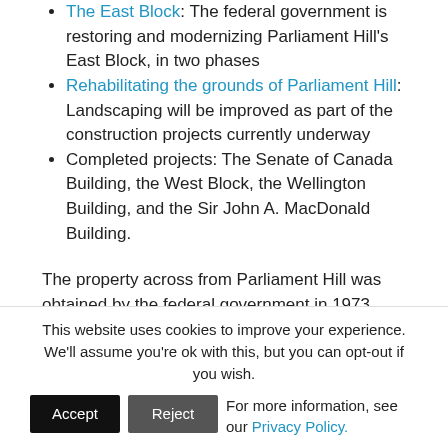The East Block: The federal government is restoring and modernizing Parliament Hill's East Block, in two phases
Rehabilitating the grounds of Parliament Hill: Landscaping will be improved as part of the construction projects currently underway
Completed projects: The Senate of Canada Building, the West Block, the Wellington Building, and the Sir John A. MacDonald Building.
The property across from Parliament Hill was obtained by the federal government in 1973, and consists of 11 buildings, many of which are in a state of disrepair. Two of the properties are designated heritage sites, the former embassy
This website uses cookies to improve your experience. We'll assume you're ok with this, but you can opt-out if you wish. Accept  Reject  For more information, see our Privacy Policy.